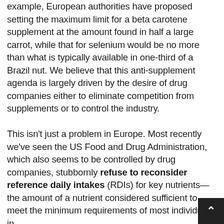example, European authorities have proposed setting the maximum limit for a beta carotene supplement at the amount found in half a large carrot, while that for selenium would be no more than what is typically available in one-third of a Brazil nut. We believe that this anti-supplement agenda is largely driven by the desire of drug companies either to eliminate competition from supplements or to control the industry. This isn't just a problem in Europe. Most recently we've seen the US Food and Drug Administration, which also seems to be controlled by drug companies, stubbornly refuse to reconsider reference daily intakes (RDIs) for key nutrients—the amount of a nutrient considered sufficient to meet the minimum requirements of most individuals in